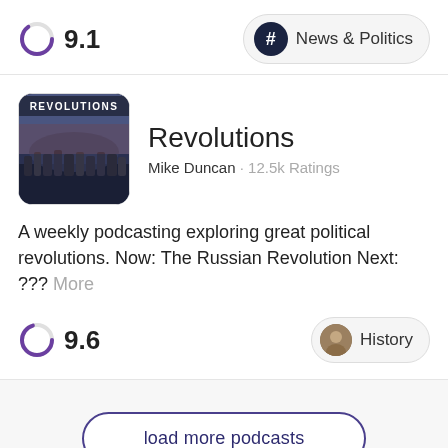9.1
# News & Politics
Revolutions
Mike Duncan · 12.5k Ratings
A weekly podcasting exploring great political revolutions. Now: The Russian Revolution Next: ??? More
9.6
History
load more podcasts
Audiojunkie